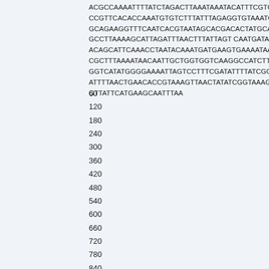ACGCCAAAATTTTATCTAGACTTAAATAAATACATTTCGTCACAAC CCGTTCACACCAAATGTGTCTTTATTTAGAGGTGTAAATGCATAC GCAGAAGGTTTCAATCACGTAATAGCACGACACTATGCAATTAGA GCCTTAAAAGCATTAGATTTAACTTTATTAGT CAATGATAAAGATG ACAGCATTCAAACCTAATACAAATGATGAAGTGAAAATAATCAAAC CGCTTTAAAATAACAATTGCTGGTGGTCAAGGCCATCTTAAAGGT GGTCATATGGGGAAAATTAGTCCTTTCGATATTTTATCGGTAGTAT ATTTTAACTGAACACCGTAAAGTTAACTATATCGGTAAAGGTATATC GTTATTCATGAAGCAATTTAA
60
120
180
240
300
360
420
480
540
600
660
720
780
840
900